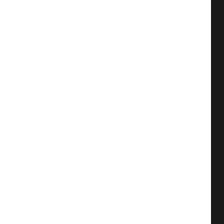-4 -fno-debug-types-sections -ftrack-macro-expansion=0 -fno-omit-frame-pointer -fPIC -Wall -Winvalid-pch -Wnon-virtual-dtor -Wextra -Wpedantic -g -O2 -std=c99 -fno-strict-aliasing -fstack-protector-strong -Wno-type-limits -Wmissing-declarations -Wredundant-decls -Wshadow -Wpointer-arith -Wcast-align -Wformat=2 -Wformat-security -Wwrite-strings -Wno-unused-parameter -Wno-missing-field-initializers -Wno-error=deprecated -Wno-error=deprecated-declarations -Wno-error=shadow -Wno-error=unused-but-set-variable -fdiagnostics-color=always -pipe -D_FILE_OFFSET_BITS=64 -DGETTEXT_PACKAGE="shotwell" -DPACKAGE_VERSION="0.30.14" -DLANGUAGE_SUPPORT_ENABLED -DGLIB_VERSION_MIN_REQUIRED=GLIB_VERSION_2_40 -DGLIB_VERSION_MAX_ALLOWED=GLIB_VERSION_2_40 -DG_LOG_USE_STRUCTURED=1 -DHAVE_UDEV -DHAVE_GPHOTO2 king-assignments -g2 -pthr src/shotwell.p/meson-gene _LibraryBranch.c.o -MF src meson-generated_library_Li c.o.d -o src/shotwell.p/me d_library_LibraryBranch.c twell.p/library/LibraryBra [231/394] i686-pld-linux-g twell.p -Isrc -I../src -I c/plugins -I../src/plugins I/usr/include/libmount -I/ blkid -I/usr/include/glib- ib/glib-2.0/include -I/usr -0.8 -I/usr/include/gtk-3 lude/at-spi2-atk/2.0 -I/us -spi-2.0 -I/usr/include/db r/lib/dbus-1.0/include -I/ gio-unix-2.0 -I/usr/includ sr/include/pango-1.0 -I/us rfbuzz -I/usr/include/frib nclude/atk-1.0 -I/usr/inc -I/usr/include/freetype2 - o/gdk_pixbuf-2.0 -I/usr/i